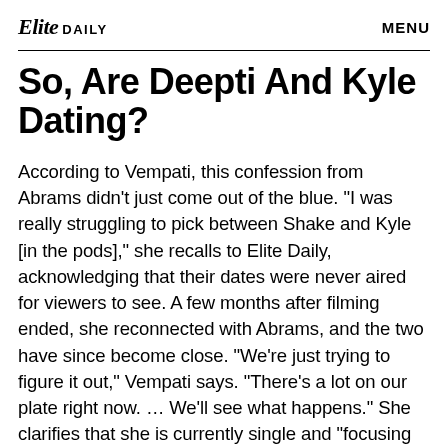Elite DAILY   MENU
So, Are Deepti And Kyle Dating?
According to Vempati, this confession from Abrams didn't just come out of the blue. “I was really struggling to pick between Shake and Kyle [in the pods],” she recalls to Elite Daily, acknowledging that their dates were never aired for viewers to see. A few months after filming ended, she reconnected with Abrams, and the two have since become close. “We’re just trying to figure it out,” Vempati says. “There’s a lot on our plate right now. … We’ll see what happens.” She clarifies that she is currently single and “focusing on myself.”